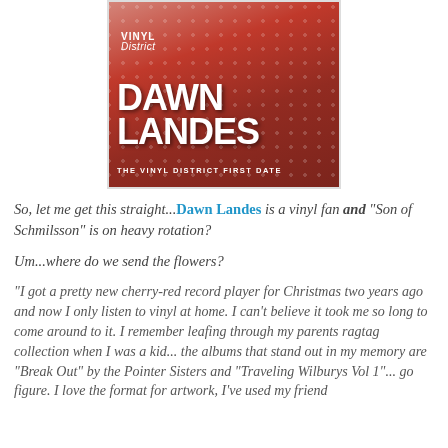[Figure (photo): Album cover for Dawn Landes - The Vinyl District First Date. Shows a woman in red polka-dot clothing with 'Vinyl District' branding and 'DAWN LANDES' in large white bold text.]
So, let me get this straight...Dawn Landes is a vinyl fan and "Son of Schmilsson" is on heavy rotation?
Um...where do we send the flowers?
"I got a pretty new cherry-red record player for Christmas two years ago and now I only listen to vinyl at home. I can't believe it took me so long to come around to it. I remember leafing through my parents ragtag collection when I was a kid... the albums that stand out in my memory are "Break Out" by the Pointer Sisters and "Traveling Wilburys Vol 1"... go figure. I love the format for artwork, I've used my friend